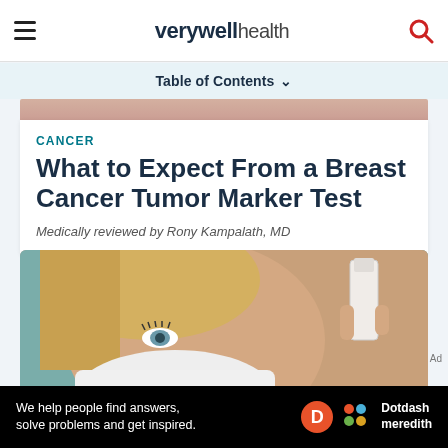verywell health
Table of Contents
CANCER
What to Expect From a Breast Cancer Tumor Marker Test
Medically reviewed by Rony Kampalath, MD
[Figure (photo): Close-up of a female healthcare worker wearing a surgical mask, holding a medical vial or test tube. Background is blurred teal/brown tones.]
We help people find answers, solve problems and get inspired. Dotdash meredith